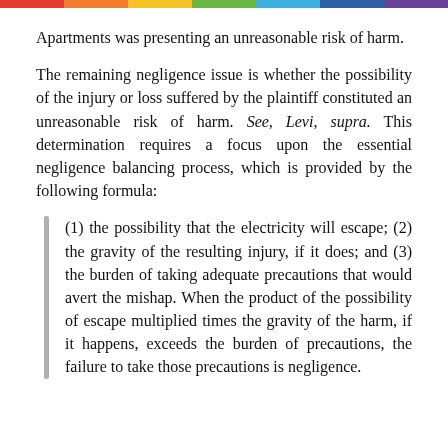Apartments was presenting an unreasonable risk of harm.
The remaining negligence issue is whether the possibility of the injury or loss suffered by the plaintiff constituted an unreasonable risk of harm. See, Levi, supra. This determination requires a focus upon the essential negligence balancing process, which is provided by the following formula:
(1) the possibility that the electricity will escape; (2) the gravity of the resulting injury, if it does; and (3) the burden of taking adequate precautions that would avert the mishap. When the product of the possibility of escape multiplied times the gravity of the harm, if it happens, exceeds the burden of precautions, the failure to take those precautions is negligence.